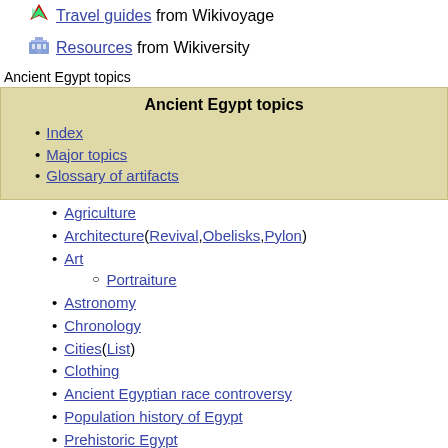Travel guides from Wikivoyage
Resources from Wikiversity
Ancient Egypt topics
| Ancient Egypt topics |
| Index |
| Major topics |
| Glossary of artifacts |
Agriculture
Architecture (Revival, Obelisks, Pylon)
Art
Portraiture
Astronomy
Chronology
Cities (List)
Clothing
Ancient Egyptian race controversy
Population history of Egypt
Prehistoric Egypt
Cuisine